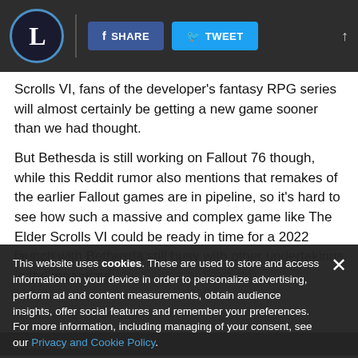L [logo] | SHARE | TWEET
Scrolls VI, fans of the developer’s fantasy RPG series will almost certainly be getting a new game sooner than we had thought.
But Bethesda is still working on Fallout 76 though, while this Reddit rumor also mentions that remakes of the earlier Fallout games are in pipeline, so it’s hard to see how such a massive and complex game like The Elder Scrolls VI could be ready in time for a 2022 launch with Bethesda still busy with other undertakings in the meantime...
This website uses cookies. These are used to store and access information on your device in order to personalize advertising, perform ad and content measurements, obtain audience insights, offer social features and remember your preferences. For more information, including managing of your consent, see our Privacy and Cookie Policy.
ACCEPT